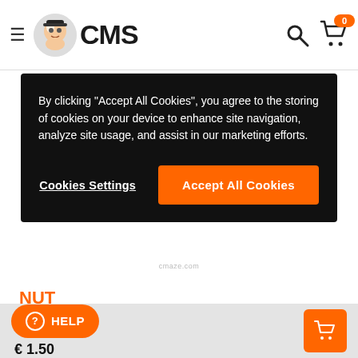CMS header with hamburger menu, logo, search, and cart (0 items)
By clicking "Accept All Cookies", you agree to the storing of cookies on your device to enhance site navigation, analyze site usage, and assist in our marketing efforts.
Cookies Settings | Accept All Cookies
[Figure (photo): Product photo of a dark metallic nut part]
NUT
0915906017
HELP   € 1.50   [add to cart button]